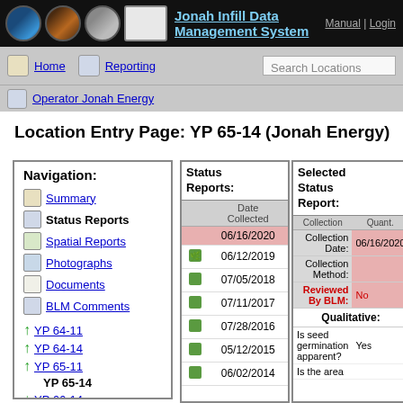Jonah Infill Data Management System | Manual | Login
Location Entry Page: YP 65-14 (Jonah Energy)
| Navigation: |
| --- |
| Summary |
| Status Reports |
| Spatial Reports |
| Photographs |
| Documents |
| BLM Comments |
| YP 64-11 |
| YP 64-14 |
| YP 65-11 |
| YP 65-14 (current) |
| YP 66-14 |
| YP 67-11 |
| Status Reports: | Date Collected |
| --- | --- |
| 06/16/2020 (selected) |
| 06/12/2019 |
| 07/05/2018 |
| 07/11/2017 |
| 07/28/2016 |
| 05/12/2015 |
| 06/02/2014 |
| Selected Status Report: | Quant. | Collection Date: | 06/16/2020 | Collection Method: |  | Reviewed By BLM: | No |
| --- | --- | --- | --- | --- | --- | --- | --- |
| Qualitative: |
| Is seed germination apparent? | Yes |
| Is the area |  |